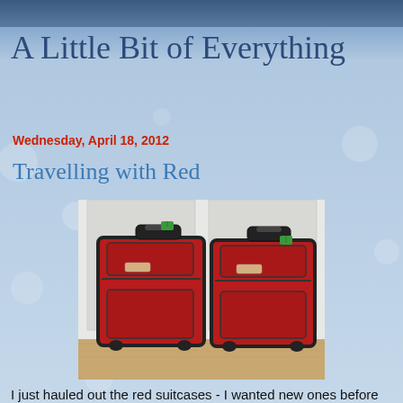A Little Bit of Everything
Wednesday, April 18, 2012
Travelling with Red
[Figure (photo): Two red rolling suitcases with black trim and green luggage tags, standing upright side by side against a white door and wall, on a wooden floor.]
I just hauled out the red suitcases - I wanted new ones before my next trip, it didn't happen, they're nice ones...